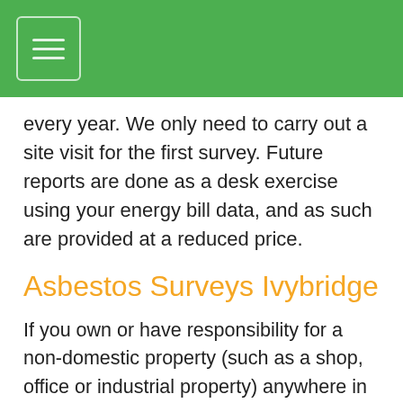every year. We only need to carry out a site visit for the first survey. Future reports are done as a desk exercise using your energy bill data, and as such are provided at a reduced price.
Asbestos Surveys Ivybridge
If you own or have responsibility for a non-domestic property (such as a shop, office or industrial property) anywhere in the UK, and if it was built pre-2000, then you are required to have an asbestos management survey in place at all times. In addition, if your property previously been shown to contain asbestos then this survey has to be actioned accordingly and regularly re-inspected; normally on